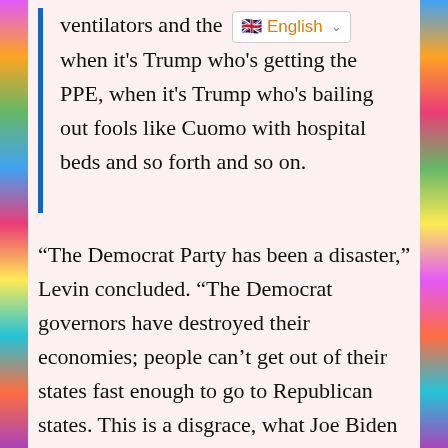ventilators and the [English] when it's Trump who's getting the PPE, when it's Trump who's bailing out fools like Cuomo with hospital beds and so forth and so on.
“The Democrat Party has been a disaster,” Levin concluded. “The Democrat governors have destroyed their economies; people can’t get out of their states fast enough to go to Republican states. This is a disgrace, what Joe Biden did. And by the way, he says it’s a war on the virus, well, who started the war? Communist China — his friends. What did he say about communist China today? Not a damn thing.